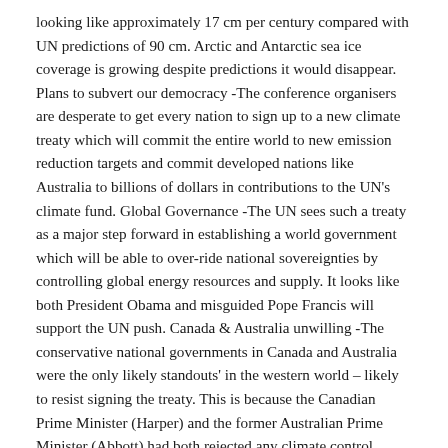looking like approximately 17 cm per century compared with UN predictions of 90 cm. Arctic and Antarctic sea ice coverage is growing despite predictions it would disappear. Plans to subvert our democracy -The conference organisers are desperate to get every nation to sign up to a new climate treaty which will commit the entire world to new emission reduction targets and commit developed nations like Australia to billions of dollars in contributions to the UN's climate fund. Global Governance -The UN sees such a treaty as a major step forward in establishing a world government which will be able to over-ride national sovereignties by controlling global energy resources and supply. It looks like both President Obama and misguided Pope Francis will support the UN push. Canada & Australia unwilling -The conservative national governments in Canada and Australia were the only likely standouts' in the western world – likely to resist signing the treaty. This is because the Canadian Prime Minister (Harper) and the former Australian Prime Minister (Abbott) had both rejected any climate control policies (like carbon taxes or emission trading schemes) which were likely to damage their national economies. Plot against Abbott – For this reason, left wing forces, sponsored by UN affiliations, have successfully removed Abbott by destabilising his Prime...